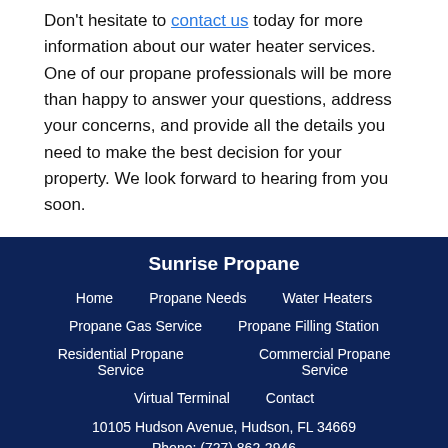Don't hesitate to contact us today for more information about our water heater services. One of our propane professionals will be more than happy to answer your questions, address your concerns, and provide all the details you need to make the best decision for your property. We look forward to hearing from you soon.
Sunrise Propane
Home | Propane Needs | Water Heaters
Propane Gas Service | Propane Filling Station
Residential Propane Service | Commercial Propane Service
Virtual Terminal | Contact
10105 Hudson Avenue, Hudson, FL 34669
Phone: (727) 862-2946
Copyright © 2022 Web Design by Web.com Group, Inc.